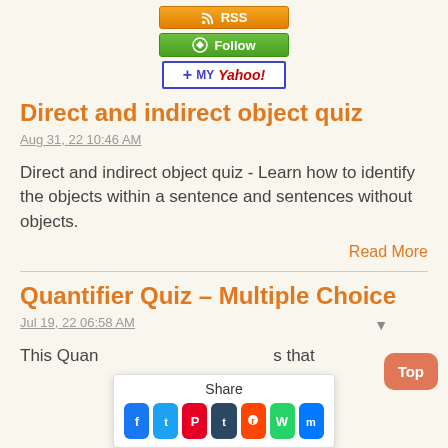[Figure (infographic): RSS button, Follow button, and My Yahoo button stacked vertically]
Direct and indirect object quiz
Aug 31, 22 10:46 AM
Direct and indirect object quiz - Learn how to identify the objects within a sentence and sentences without objects.
Read More
Quantifier Quiz – Multiple Choice
Jul 19, 22 06:58 AM
This Quan...s that
[Figure (infographic): Share popup with social media icons: Facebook, Twitter, Pinterest, Tumblr, Reddit, WhatsApp, Messenger]